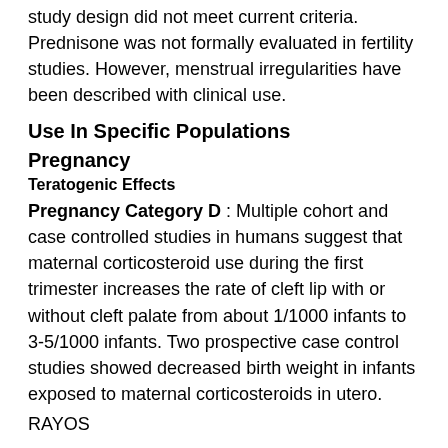study design did not meet current criteria. Prednisone was not formally evaluated in fertility studies. However, menstrual irregularities have been described with clinical use.
Use In Specific Populations
Pregnancy
Teratogenic Effects
Pregnancy Category D : Multiple cohort and case controlled studies in humans suggest that maternal corticosteroid use during the first trimester increases the rate of cleft lip with or without cleft palate from about 1/1000 infants to 3-5/1000 infants. Two prospective case control studies showed decreased birth weight in infants exposed to maternal corticosteroids in utero.
RAYOS...